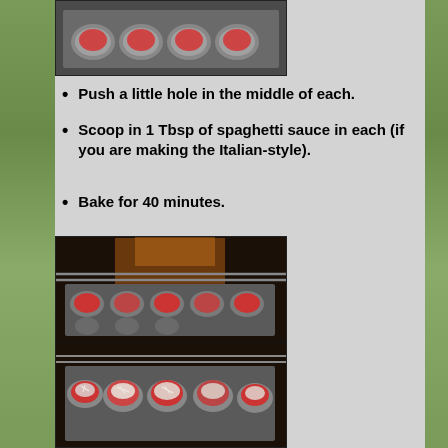[Figure (photo): Muffin tin with meatballs topped with red tomato/spaghetti sauce, viewed from above, before baking]
Push a little hole in the middle of each.
Scoop in 1 Tbsp of spaghetti sauce in each (if you are making the Italian-style).
Bake for 40 minutes.
[Figure (photo): Two oven racks inside an oven: top rack shows muffin tins with sauced meatballs going in; bottom rack shows muffin tins with meatballs topped with shredded cheese]